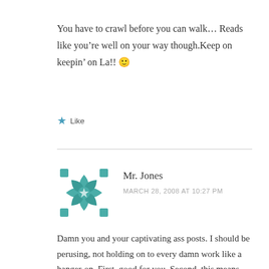You have to crawl before you can walk… Reads like you're well on your way though.Keep on keepin' on La!! 🙂
Like
Mr. Jones
MARCH 28, 2008 AT 10:27 PM
Damn you and your captivating ass posts. I should be perusing, not holding on to every damn work like a hanger-on. First, good for you. Second, this means you'll be about a 3-hour drive or 50-minute Delta Shuttle away from me in Baltimore; we'll have to get together often. Third, move to Brooklyn. Ft. Green to be exact. There's resturant on Fulton that I'd give my left nut to eat from